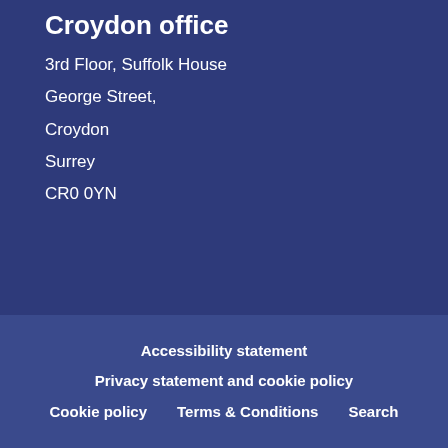Croydon office
3rd Floor, Suffolk House
George Street,
Croydon
Surrey
CR0 0YN
Accessibility statement
Privacy statement and cookie policy
Cookie policy   Terms & Conditions   Search